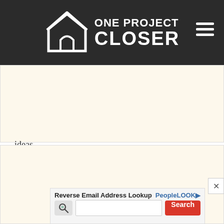ONE PROJECT CLOSER
ideas
Scott says:
December 19, 2013 at 6:22 pm

I have a recently purchased Toro Power Max HD 926OXE Snowblower only 3weeks old. I finally got around to using it with the snow that has arrived and it just won't start?I filled tank with Fresh Premium Gas with Sta-bil too and it just will not start.I tried a few times with the El... sound... whats
[Figure (other): Reverse Email Address Lookup advertisement overlay with PeopleLook branding, search icon, text input field, and Search button]